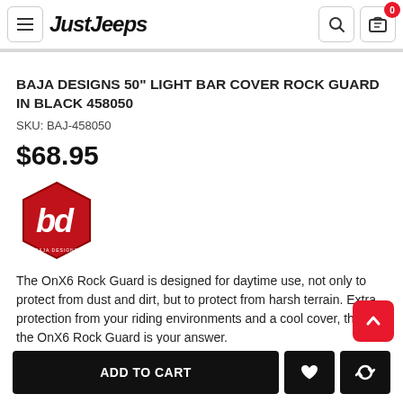JustJeeps
BAJA DESIGNS 50" LIGHT BAR COVER ROCK GUARD IN BLACK 458050
SKU: BAJ-458050
$68.95
[Figure (logo): Baja Designs hexagonal logo in red with white BD letters]
The OnX6 Rock Guard is designed for daytime use, not only to protect from dust and dirt, but to protect from harsh terrain. Extra protection from your riding environments and a cool cover, then the OnX6 Rock Guard is your answer.